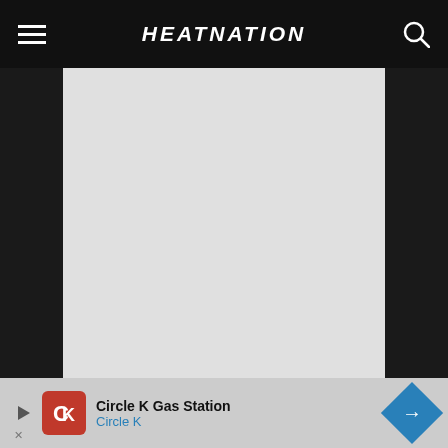HEATNATION
[Figure (photo): Gray/white image placeholder area for an article photo]
While it’s understandable to debate whether or not Dragic and Deng will be back in Heat uniforms next year, why bring up Andersen, Chalmers and McRoberts?
Simple—all three of them are expendable.
[Figure (infographic): Advertisement banner: Circle K Gas Station ad with Circle K logo and directional arrow icon]